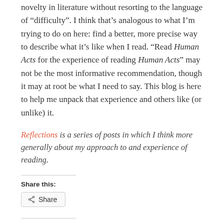novelty in literature without resorting to the language of “difficulty”. I think that’s analogous to what I’m trying to do on here: find a better, more precise way to describe what it’s like when I read. “Read Human Acts for the experience of reading Human Acts” may not be the most informative recommendation, though it may at root be what I need to say. This blog is here to help me unpack that experience and others like (or unlike) it.
Reflections is a series of posts in which I think more generally about my approach to and experience of reading.
Share this:
[Figure (screenshot): Share button with share icon]
Like this:
[Figure (screenshot): Like button and row of avatar thumbnails]